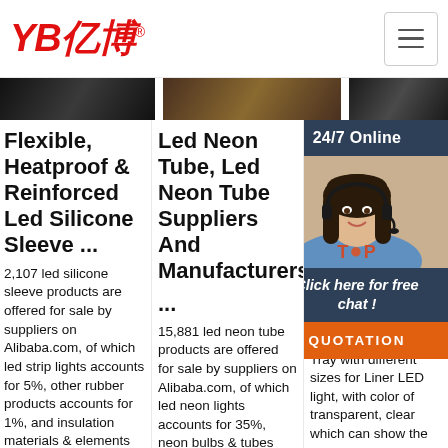YB亿博® [logo] | hamburger menu
[Figure (photo): Three dark product image thumbnails in a horizontal strip]
Flexible, Heatproof & Reinforced Led Silicone Sleeve ...
2,107 led silicone sleeve products are offered for sale by suppliers on Alibaba.com, of which led strip lights accounts for 5%, other rubber products accounts for 1%, and insulation materials & elements accounts for 1%. A
Led Neon Tube, Led Neon Tube Suppliers And Manufacturers
...
15,881 led neon tube products are offered for sale by suppliers on Alibaba.com, of which led neon lights accounts for 35%, neon bulbs & tubes accounts for 1%, and plastic tubes accounts for
Sil Ex Le Ali
Tra Sili Tray LED Tra Sili Tray with different sizes for Liner LED light, with color of transparent, clear which can show the light better, and hardness is 65+/-5 shore A, packed by
[Figure (photo): 24/7 Online chat agent widget with female customer service representative wearing headset, 'Click here for free chat!' text, and QUOTATION button]